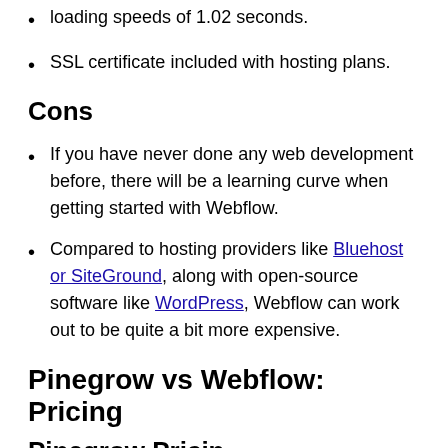loading speeds of 1.02 seconds.
SSL certificate included with hosting plans.
Cons
If you have never done any web development before, there will be a learning curve when getting started with Webflow.
Compared to hosting providers like Bluehost or SiteGround, along with open-source software like WordPress, Webflow can work out to be quite a bit more expensive.
Pinegrow vs Webflow: Pricing
Pinegrow Pricing